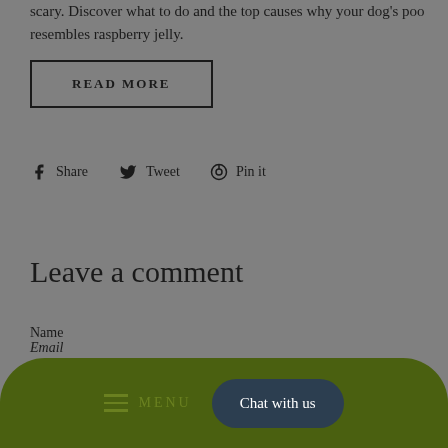scary. Discover what to do and the top causes why your dog's poo resembles raspberry jelly.
READ MORE
Share   Tweet   Pin it
Leave a comment
Name
Email
MENU   Chat with us